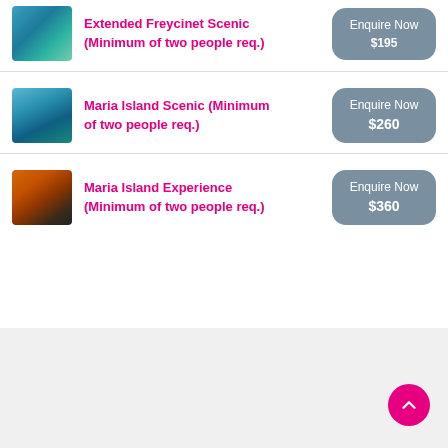Extended Freycinet Scenic (Minimum of two people req.) — Enquire Now $195
Maria Island Scenic (Minimum of two people req.) — Enquire Now $260
Maria Island Experience (Minimum of two people req.) — Enquire Now $360